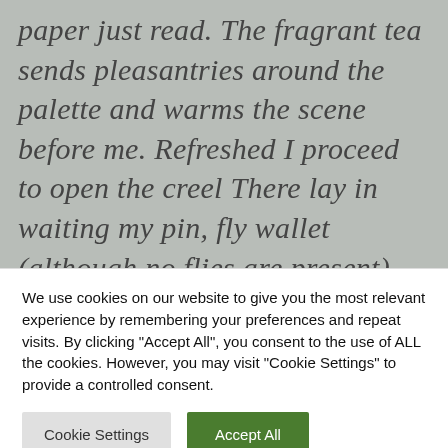paper just read. The fragrant tea sends pleasantries around the palette and warms the scene before me. Refreshed I proceed to open the creel There lay in waiting my pin, fly wallet (although no flies are present) and the bamboo float tube. This gathering of tackles are
We use cookies on our website to give you the most relevant experience by remembering your preferences and repeat visits. By clicking "Accept All", you consent to the use of ALL the cookies. However, you may visit "Cookie Settings" to provide a controlled consent.